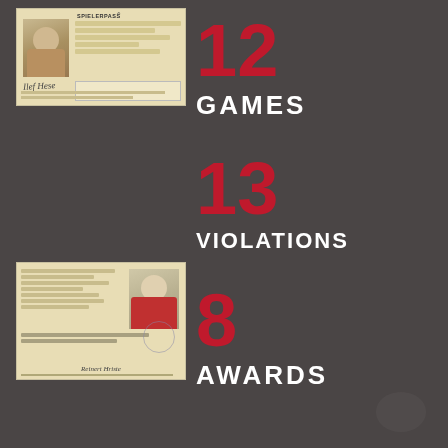[Figure (photo): German Spielerpass (player ID card) with photo of a woman, yellowed document with form fields and signature]
12
GAMES
13
VIOLATIONS
[Figure (photo): Player ID card with photo of a young boy in sports jersey, yellowed document with form fields and signature]
8
AWARDS